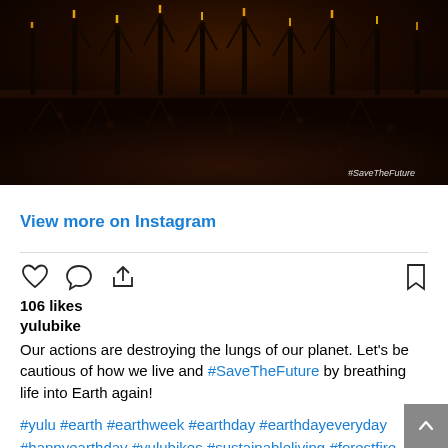[Figure (photo): Dark image of burned forest trees silhouetted against a dark background, showing a cross-section of scorched earth and roots below. A hashtag watermark reads #SaveTheFuture in the bottom right corner.]
View more on Instagram
106 likes
yulubike
Our actions are destroying the lungs of our planet. Let's be cautious of how we live and #SaveTheFuture by breathing life into Earth again!
#yulu #earth #earthweek #earthday #earthdayeveryday #happyearthday #yulubikes #sustainableliving #forestfire #birthday #sustainablebirthday #deforestation #forests